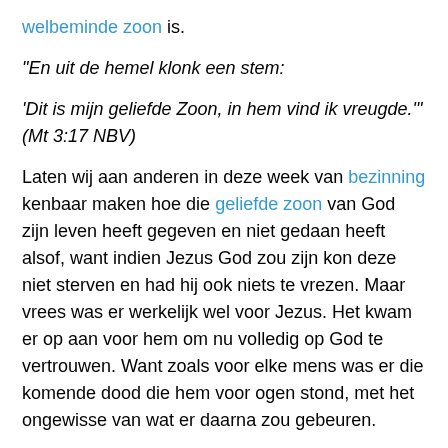welbeminde zoon is.
"En uit de hemel klonk een stem:
'Dit is mijn geliefde Zoon, in hem vind ik vreugde.'" (Mt 3:17 NBV)
Laten wij aan anderen in deze week van bezinning kenbaar maken hoe die geliefde zoon van God zijn leven heeft gegeven en niet gedaan heeft alsof, want indien Jezus God zou zijn kon deze niet sterven en had hij ook niets te vrezen. Maar vrees was er werkelijk wel voor Jezus. Het kwam er op aan voor hem om nu volledig op God te vertrouwen. Want zoals voor elke mens was er die komende dood die hem voor ogen stond, met het ongewisse van wat er daarna zou gebeuren.
Het werd op een bepaald ogenblik zo erg dat hij zich